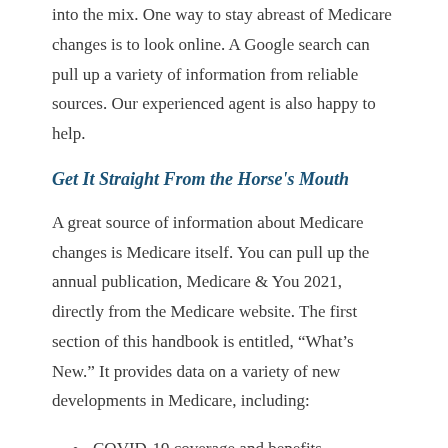into the mix. One way to stay abreast of Medicare changes is to look online. A Google search can pull up a variety of information from reliable sources. Our experienced agent is also happy to help.
Get It Straight From the Horse's Mouth
A great source of information about Medicare changes is Medicare itself. You can pull up the annual publication, Medicare & You 2021, directly from the Medicare website. The first section of this handbook is entitled, “What’s New.” It provides data on a variety of new developments in Medicare, including:
COVID-19 coverage and benefits
Savings on out-of-pocket costs for insulin